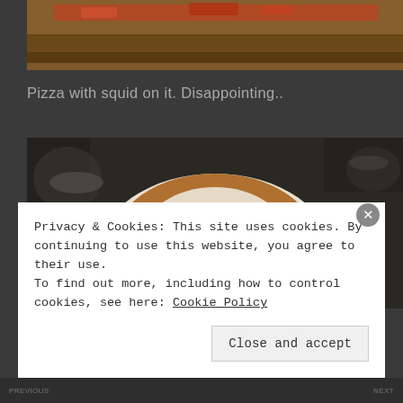[Figure (photo): Top portion of a pizza with toppings on a wooden board, cropped]
Pizza with squid on it. Disappointing..
[Figure (photo): A latte art coffee cup on a saucer, viewed from above, with other dishes visible in background on a dark table]
Privacy & Cookies: This site uses cookies. By continuing to use this website, you agree to their use.
To find out more, including how to control cookies, see here: Cookie Policy
Close and accept